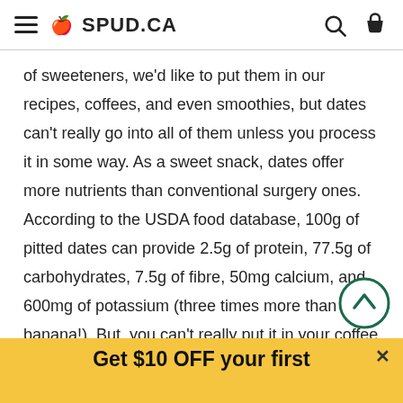SPUD.CA
of sweeteners, we'd like to put them in our recipes, coffees, and even smoothies, but dates can't really go into all of them unless you process it in some way. As a sweet snack, dates offer more nutrients than conventional surgery ones. According to the USDA food database, 100g of pitted dates can provide 2.5g of protein, 77.5g of carbohydrates, 7.5g of fibre, 50mg calcium, and 600mg of potassium (three times more than a banana!). But, you can't really put it in your coffee every day. We recommend making a date paste and using it in your smoothie or homemade nut milk!
Get $10 OFF your first